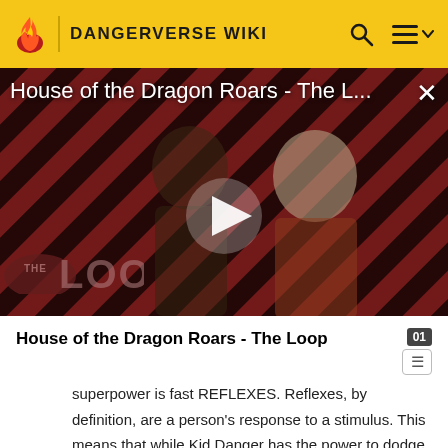DANGERVERSE WIKI
[Figure (screenshot): Video thumbnail for 'House of the Dragon Roars - The Loop' showing two characters against a diagonal red and black striped background, with a play button in the center and 'THE LOOP' logo in the lower left.]
House of the Dragon Roars - The Loop
superpower is fast REFLEXES. Reflexes, by definition, are a person's response to a stimulus. This means that while Kid Danger has the power to dodge